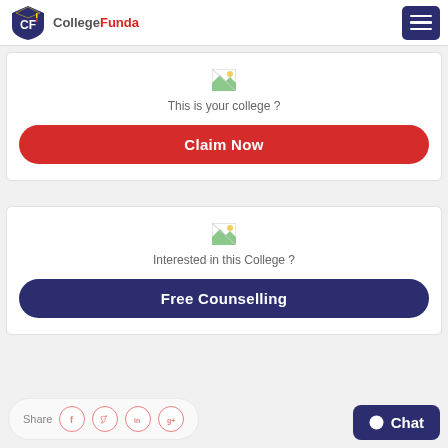[Figure (logo): College Funda logo with graduation cap icon, navy blue shield with CF letters]
[Figure (other): Hamburger menu icon (three horizontal lines) on dark navy background]
[Figure (other): Broken/missing image placeholder]
This is your college ?
Claim Now
[Figure (other): Broken/missing image placeholder]
Interested in this College ?
Free Counselling
Share
Chat